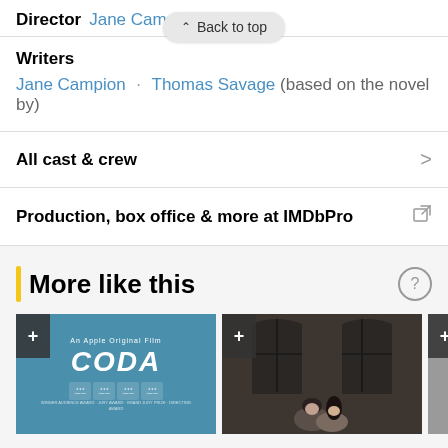Director  Jane Campion
^ Back to top
Writers
Jane Campion · Thomas Savage (based on the novel by)
All cast & crew >
Production, box office & more at IMDbPro ⧉
More like this
[Figure (photo): CODA movie poster - Apple Original Film on teal background]
[Figure (photo): Dark film scene with two people]
[Figure (photo): Partial gray thumbnail with plus button]